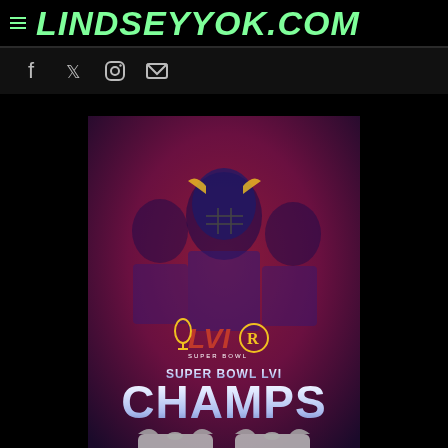LINDSEYYOK.COM
[Figure (illustration): Social media icons: Facebook (f), Twitter (bird), Instagram (camera), Email (envelope)]
[Figure (photo): Super Bowl LVI Champions promotional image showing LA Rams players in helmets with text 'SUPER BOWL LVI CHAMPS' and championship t-shirts at the bottom]